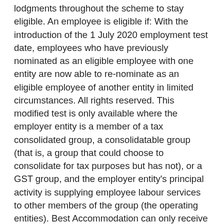lodgments throughout the scheme to stay eligible. An employee is eligible if: With the introduction of the 1 July 2020 employment test date, employees who have previously nominated as an eligible employee with one entity are now able to re-nominate as an eligible employee of another entity in limited circumstances. All rights reserved. This modified test is only available where the employer entity is a member of a tax consolidated group, a consolidatable group (that is, a group that could choose to consolidate for tax purposes but has not), or a GST group, and the employer entity's principal activity is supplying employee labour services to other members of the group (the operating entities). Best Accommodation can only receive JobMaker Hiring Credits for the 5 new employees when they stop receiving JobKeeper payments. The following entities (excluded entities) are not eligible for the payment: An entity that is subject to the Major Bank Levy, or that is a member of a consolidated group where another member of the group is subject to the Major Bank Levy. In addition to losing access to JobMaker Hiring Credit payments, employers should consider their obligations under the Age Discrimination Act 2004 and the Fair Work Act 2009. A Co is opening a retail store. The Tort Immunity